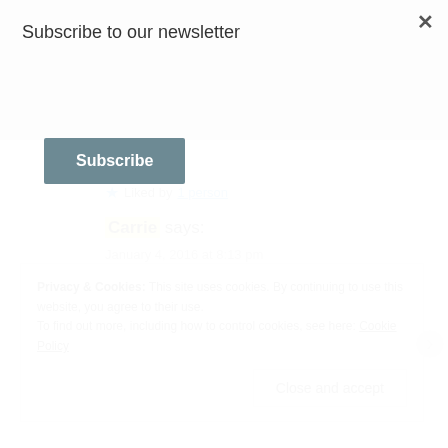Subscribe to our newsletter
Subscribe
you. 😉
★ Liked by 1 person
Carrie says:
January 4, 2016 at 8:13 pm
haha!
Privacy & Cookies: This site uses cookies. By continuing to use this website, you agree to their use.
To find out more, including how to control cookies, see here: Cookie Policy
Close and accept